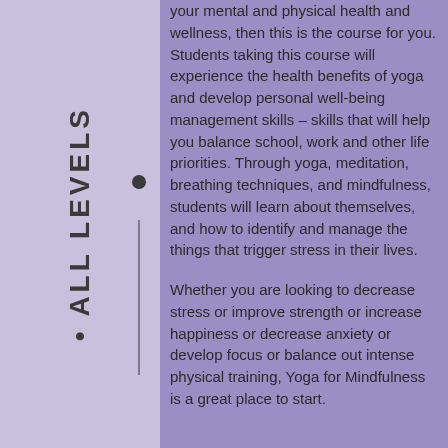• ALL LEVELS
your mental and physical health and wellness, then this is the course for you. Students taking this course will experience the health benefits of yoga and develop personal well-being management skills – skills that will help you balance school, work and other life priorities. Through yoga, meditation, breathing techniques, and mindfulness, students will learn about themselves, and how to identify and manage the things that trigger stress in their lives.
Whether you are looking to decrease stress or improve strength or increase happiness or decrease anxiety or develop focus or balance out intense physical training, Yoga for Mindfulness is a great place to start.